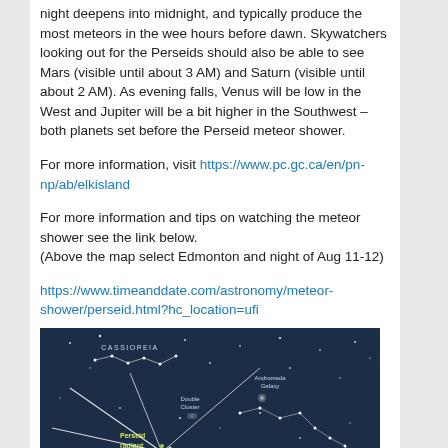night deepens into midnight, and typically produce the most meteors in the wee hours before dawn. Skywatchers looking out for the Perseids should also be able to see Mars (visible until about 3 AM) and Saturn (visible until about 2 AM). As evening falls, Venus will be low in the West and Jupiter will be a bit higher in the Southwest – both planets set before the Perseid meteor shower.
For more information, visit https://www.pc.gc.ca/en/pn-np/ab/elkisland
For more information and tips on watching the meteor shower see the link below.
(Above the map select Edmonton and night of Aug 11-12)
https://www.timeanddate.com/astronomy/meteor-shower/perseid.html?hc_location=ufi
[Figure (illustration): Star map showing constellations including Cassiopeia, Andromeda, Perseus, Triangulum with the Perseid radiant marked in yellow and meteors radiating outward. Andromeda Galaxy labeled. Double Cluster labeled. Dark blue background with constellation lines and stars.]